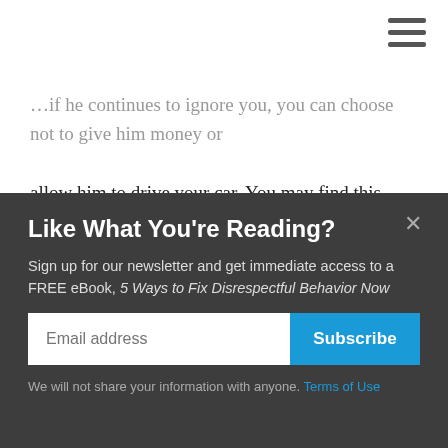[Figure (other): Hamburger menu icon (three horizontal lines) in the top right corner]
...if he continues to ignore you, you can choose not to give him money or allow him to drive your car. You may find this article about how to manage when your child continues to make poor choices helpful: Throwing It All Away: When Good Kids Make Bad Choices. We appreciate you writing in and sharing your story. Good luck to you and your son moving
Like What You're Reading?
Sign up for our newsletter and get immediate access to a FREE eBook, 5 Ways to Fix Disrespectful Behavior Now
We will not share your information with anyone. Terms of Use